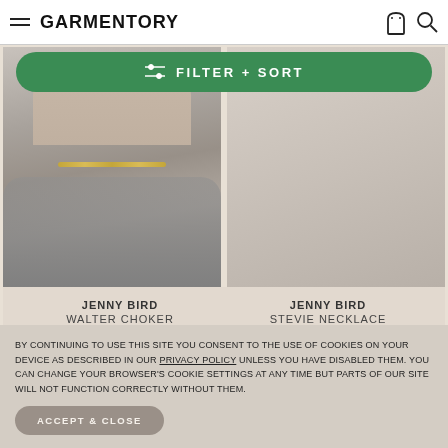GARMENTORY
FILTER + SORT
[Figure (photo): Close-up photo of person wearing a gold chain choker necklace, wearing a gray t-shirt]
JENNY BIRD
WALTER CHOKER
$100.00
[Figure (photo): Right product image area, partially visible, beige/neutral background]
JENNY BIRD
STEVIE NECKLACE
$135.00
BY CONTINUING TO USE THIS SITE YOU CONSENT TO THE USE OF COOKIES ON YOUR DEVICE AS DESCRIBED IN OUR PRIVACY POLICY UNLESS YOU HAVE DISABLED THEM. YOU CAN CHANGE YOUR BROWSER'S COOKIE SETTINGS AT ANY TIME BUT PARTS OF OUR SITE WILL NOT FUNCTION CORRECTLY WITHOUT THEM.
ACCEPT & CLOSE